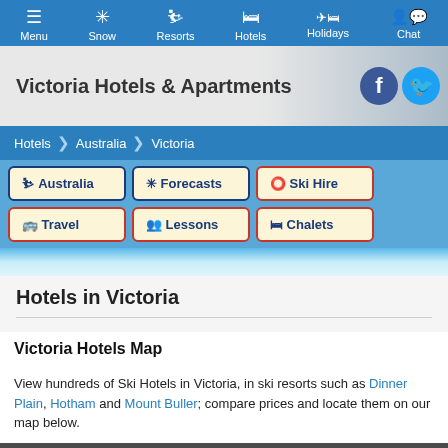Menu | Snow | Resorts | Hotels | Holidays | Chat
Victoria Hotels & Apartments
Hotels > Australia > Victoria
Australia | Forecasts | Ski Hire | Travel | Lessons | Chalets
Hotels in Victoria
Victoria Hotels Map
View hundreds of Ski Hotels in Victoria, in ski resorts such as Dinner Plain, Hotham and Mount Buller; compare prices and locate them on our map below.
J2Ski uses Cookies to give you the best experience